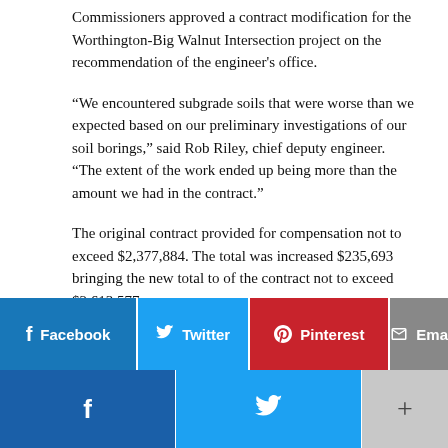Commissioners approved a contract modification for the Worthington-Big Walnut Intersection project on the recommendation of the engineer's office.
“We encountered subgrade soils that were worse than we expected based on our preliminary investigations of our soil borings,” said Rob Riley, chief deputy engineer. “The extent of the work ended up being more than the amount we had in the contract.”
The original contract provided for compensation not to exceed $2,377,884. The total was increased $235,693 bringing the new total to of the contract not to exceed $2,613,577.
Riley told the commissioners that the project had been completed.
[Figure (other): Social sharing buttons row: Facebook (blue), Twitter (cyan), Pinterest (red), Email (grey)]
[Figure (other): Bottom social bar: Facebook icon (dark blue), Twitter bird icon (cyan), plus icon (grey)]